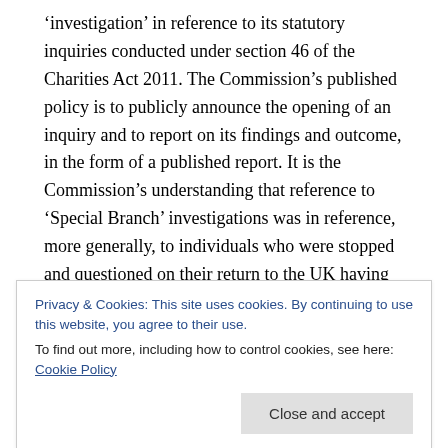'investigation' in reference to its statutory inquiries conducted under section 46 of the Charities Act 2011. The Commission's published policy is to publicly announce the opening of an inquiry and to report on its findings and outcome, in the form of a published report. It is the Commission's understanding that reference to 'Special Branch' investigations was in reference, more generally, to individuals who were stopped and questioned on their return to the UK having travelled to Syria (and/or the region more generally) – as opposed to referring to a specific
Privacy & Cookies: This site uses cookies. By continuing to use this website, you agree to their use. To find out more, including how to control cookies, see here: Cookie Policy
("The Charity" in the above extract refers to Hand in